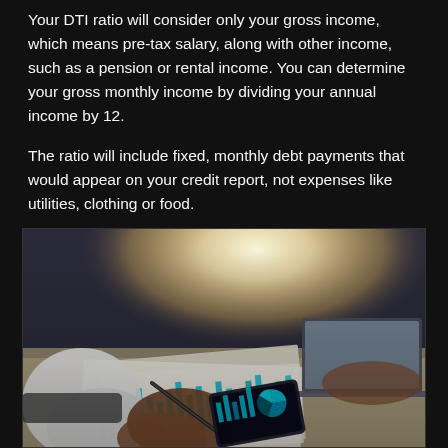Your DTI ratio will consider only your gross income, which means pre-tax salary, along with other income, such as a pension or rental income. You can determine your gross monthly income by dividing your annual income by 12.
The ratio will include fixed, monthly debt payments that would appear on your credit report, not expenses like utilities, clothing or food.
[Figure (photo): A person writing with a pen on financial charts and graphs on a desk, with a laptop in the background. Teal and blue bar charts and a pie chart are visible on printed documents. A smartphone with financial data is also visible.]